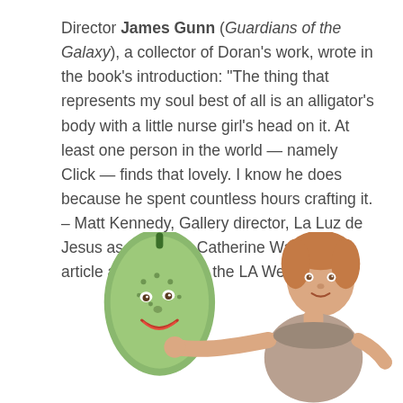Director James Gunn (Guardians of the Galaxy), a collector of Doran's work, wrote in the book's introduction: “The thing that represents my soul best of all is an alligator’s body with a little nurse girl’s head on it. At least one person in the world — namely Click — finds that lovely. I know he does because he spent countless hours crafting it. – Matt Kennedy, Gallery director, La Luz de Jesus as quoted in Catherine Wagley’s article about Click for the LA Weekly
[Figure (photo): A surreal ceramic or porcelain figurine showing a child-like body holding a large green vegetable/cucumber-like head with a painted smiling face. The figure appears to be a folk art or outsider art sculpture against a white background.]